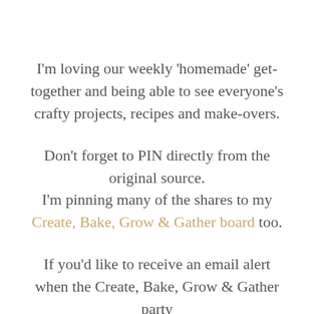I'm loving our weekly 'homemade' get-together and being able to see everyone's crafty projects, recipes and make-overs.
Don't forget to PIN directly from the original source. I'm pinning many of the shares to my Create, Bake, Grow & Gather board too.
If you'd like to receive an email alert when the Create, Bake, Grow & Gather party